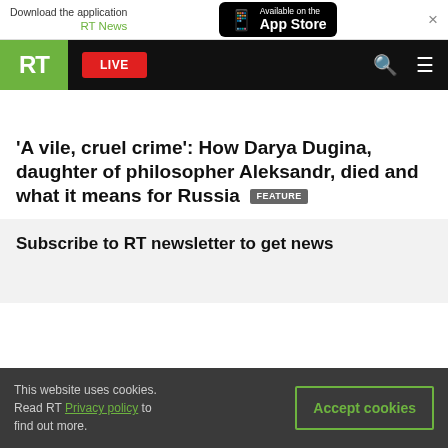Download the application RT News — Available on the App Store
[Figure (screenshot): RT News website navigation bar with green RT logo, red LIVE button, search icon and hamburger menu]
'A vile, cruel crime': How Darya Dugina, daughter of philosopher Aleksandr, died and what it means for Russia  FEATURE
Subscribe to RT newsletter to get news
This website uses cookies. Read RT Privacy policy to find out more.